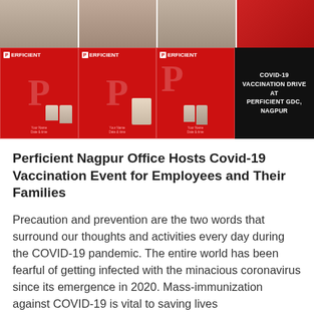[Figure (photo): Collage of Perficient branded vaccination promotional photos. Top row shows partial photos of people. Bottom row shows three red Perficient branded cards with people posing, and a black card with text 'COVID-19 VACCINATION DRIVE AT PERFICIENT GDC, NAGPUR'.]
Perficient Nagpur Office Hosts Covid-19 Vaccination Event for Employees and Their Families
Precaution and prevention are the two words that surround our thoughts and activities every day during the COVID-19 pandemic. The entire world has been fearful of getting infected with the minacious coronavirus since its emergence in 2020. Mass-immunization against COVID-19 is vital to saving lives